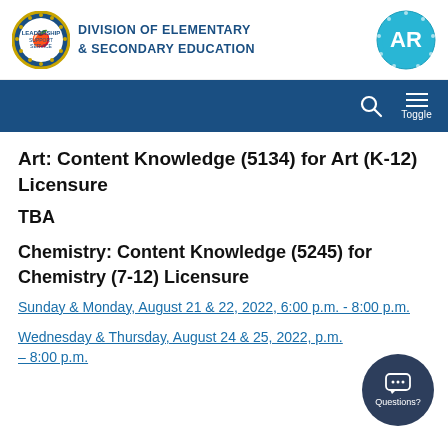Division of Elementary & Secondary Education
Art: Content Knowledge (5134) for Art (K-12) Licensure
TBA
Chemistry: Content Knowledge (5245) for Chemistry (7-12) Licensure
Sunday & Monday, August 21 & 22, 2022, 6:00 p.m. - 8:00 p.m.
Wednesday & Thursday, August 24 & 25, 2022, p.m. – 8:00 p.m.